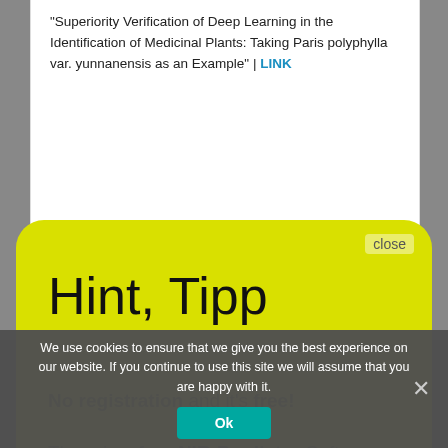“Superiority Verification of Deep Learning in the Identification of Medicinal Plants: Taking Paris polyphylla var. yunnanensis as an Example” | LINK
[Figure (screenshot): Yellow rounded hint/tooltip panel overlay with title 'Hint, Tipp', text about no registration and free NIR-Predictor Software, and a 'Show me' link. Has a 'close' button in top right corner.]
We use cookies to ensure that we give you the best experience on our website. If you continue to use this site we will assume that you are happy with it.
Ok